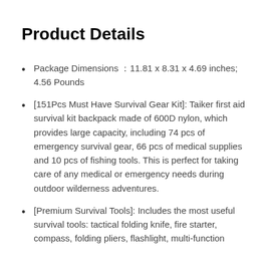Product Details
Package Dimensions : 11.81 x 8.31 x 4.69 inches; 4.56 Pounds
[151Pcs Must Have Survival Gear Kit]: Taiker first aid survival kit backpack made of 600D nylon, which provides large capacity, including 74 pcs of emergency survival gear, 66 pcs of medical supplies and 10 pcs of fishing tools. This is perfect for taking care of any medical or emergency needs during outdoor wilderness adventures.
[Premium Survival Tools]: Includes the most useful survival tools: tactical folding knife, fire starter, compass, folding pliers, flashlight, multi-function